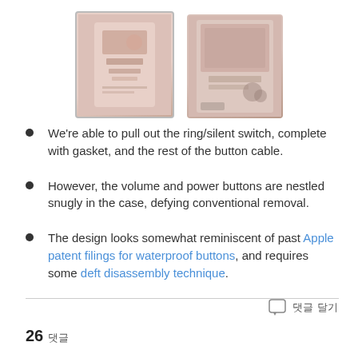[Figure (photo): Two photos of iPhone internals showing ring/silent switch and button components, pink/rose gold color.]
We're able to pull out the ring/silent switch, complete with gasket, and the rest of the button cable.
However, the volume and power buttons are nestled snugly in the case, defying conventional removal.
The design looks somewhat reminiscent of past Apple patent filings for waterproof buttons, and requires some deft disassembly technique.
26 댓글